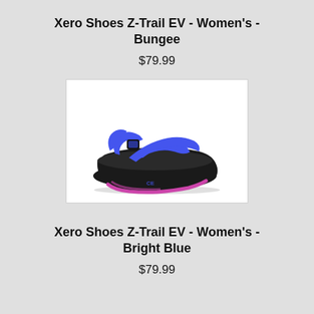Xero Shoes Z-Trail EV - Women's - Bungee
$79.99
[Figure (photo): Xero Shoes Z-Trail EV sandal in Bright Blue colorway with blue straps and pink/purple sole accents on a black footbed, photographed on white background]
Xero Shoes Z-Trail EV - Women's - Bright Blue
$79.99